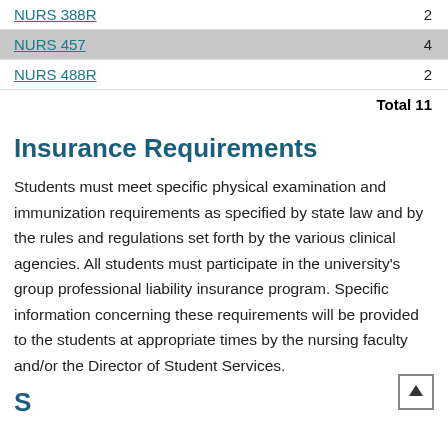NURS 388R  2
NURS 457  4
NURS 488R  2
Total 11
Insurance Requirements
Students must meet specific physical examination and immunization requirements as specified by state law and by the rules and regulations set forth by the various clinical agencies. All students must participate in the university's group professional liability insurance program. Specific information concerning these requirements will be provided to the students at appropriate times by the nursing faculty and/or the Director of Student Services.
G...